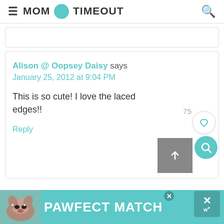≡ MOM ON TIMEOUT 🔍
Alison @ Oopsey Daisy says
January 25, 2012 at 9:04 PM

This is so cute! I love the laced edges!!

Reply
[Figure (screenshot): PAWFECT MATCH advertisement banner with dog photo]